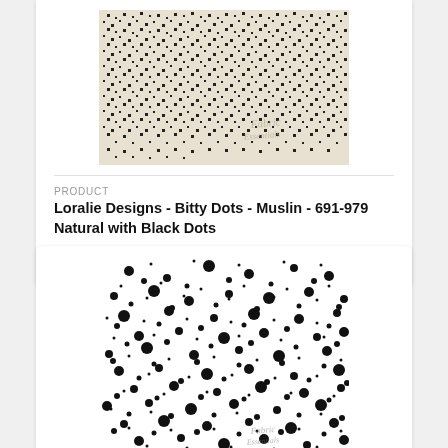[Figure (photo): Close-up of fabric with small black square dots on a natural/cream background, with a 'Fabric Essentials' watermark logo in the lower right area of the image.]
PRODUCT
Loralie Designs - Bitty Dots - Muslin - 691-979 Natural with Black Dots
$11.99
[Figure (photo): Fabric swatch with scattered black dots of varying sizes on a white background, with a 'Fabric Essentials' watermark logo in the lower right corner.]